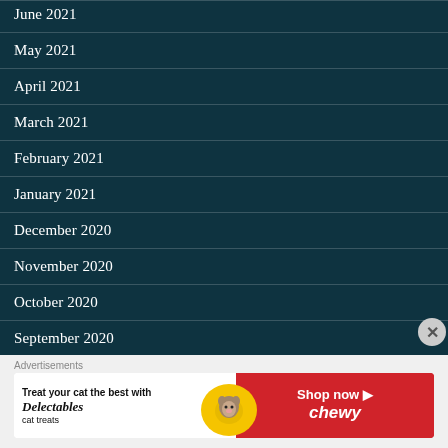June 2021
May 2021
April 2021
March 2021
February 2021
January 2021
December 2020
November 2020
October 2020
September 2020
Advertisements
[Figure (infographic): Chewy advertisement: Treat your cat the best with Delectables cat treats. Shop now Chewy. Features a cat image and yellow/red color scheme.]